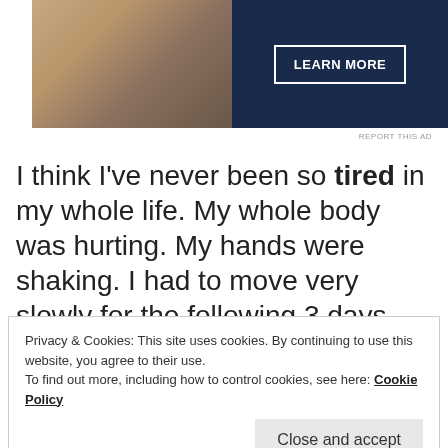[Figure (photo): Advertisement banner with dark navy background, photo of hands on left side, and LEARN MORE button]
REPORT THIS AD
I think I've never been so tired in my whole life. My whole body was hurting. My hands were shaking. I had to move very slowly for the following 3 days. Not bad for the first time in snow I must say. :)
Privacy & Cookies: This site uses cookies. By continuing to use this website, you agree to their use.
To find out more, including how to control cookies, see here: Cookie Policy
Close and accept